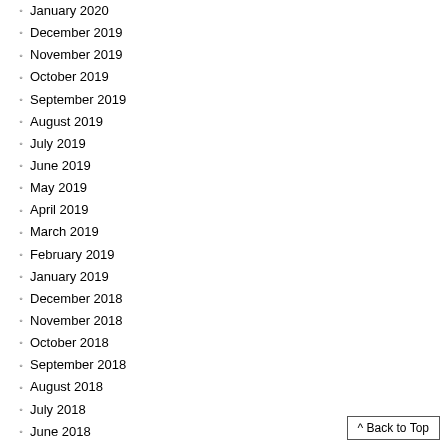January 2020
December 2019
November 2019
October 2019
September 2019
August 2019
July 2019
June 2019
May 2019
April 2019
March 2019
February 2019
January 2019
December 2018
November 2018
October 2018
September 2018
August 2018
July 2018
June 2018
May 2018
April 2018
March 2018
February 2018
January 2018
^ Back to Top